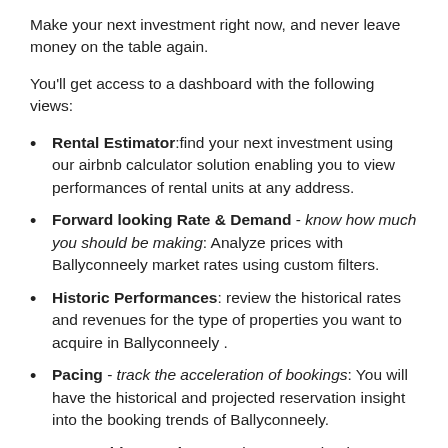Make your next investment right now, and never leave money on the table again.
You'll get access to a dashboard with the following views:
Rental Estimator: find your next investment using our airbnb calculator solution enabling you to view performances of rental units at any address.
Forward looking Rate & Demand - know how much you should be making: Analyze prices with Ballyconneely market rates using custom filters.
Historic Performances: review the historical rates and revenues for the type of properties you want to acquire in Ballyconneely .
Pacing - track the acceleration of bookings: You will have the historical and projected reservation insight into the booking trends of Ballyconneely.
Competitive Landscape: view competitor inventory, average bedrooms per property, average score, ADR, revenue and occupancy. You can add more than one